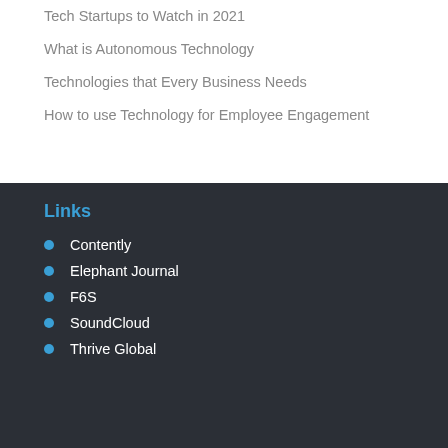Tech Startups to Watch in 2021
What is Autonomous Technology
Technologies that Every Business Needs
How to use Technology for Employee Engagement
Links
Contently
Elephant Journal
F6S
SoundCloud
Thrive Global